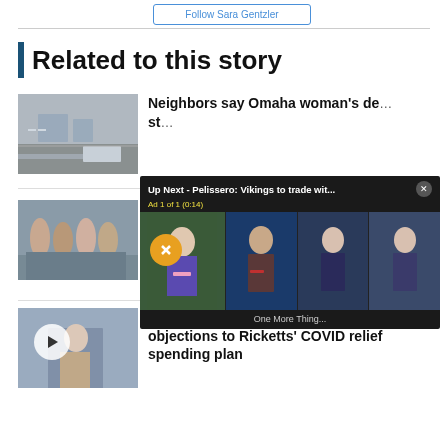Follow Sara Gentzler
Related to this story
Neighbors say Omaha woman's death went undetected for st...
[Figure (screenshot): Street scene with car passing, trees and houses in background]
Ne... fi...
[Figure (screenshot): Group of young women standing outdoors]
[Figure (screenshot): Video player overlay: Up Next - Pelissero: Vikings to trade wit... with Ad 1 of 1 (0:14) and four video frames of news anchors. Caption: One More Thing...]
Public school advocates among those with objections to Ricketts' COVID relief spending plan
[Figure (screenshot): Video thumbnail of person speaking at podium with play button overlay]